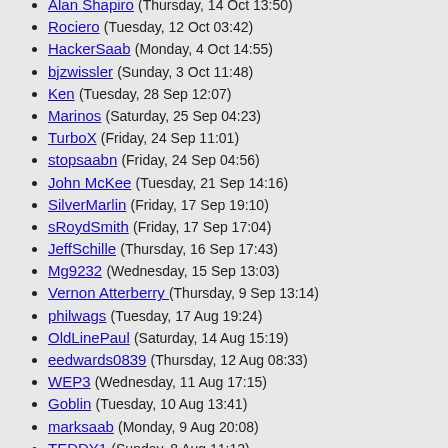Alan Shapiro (Thursday, 14 Oct 13:50)
Rociero (Tuesday, 12 Oct 03:42)
HackerSaab (Monday, 4 Oct 14:55)
bjzwissler (Sunday, 3 Oct 11:48)
Ken (Tuesday, 28 Sep 12:07)
Marinos (Saturday, 25 Sep 04:23)
TurboX (Friday, 24 Sep 11:01)
stopsaabn (Friday, 24 Sep 04:56)
John McKee (Tuesday, 21 Sep 14:16)
SilverMarlin (Friday, 17 Sep 19:10)
sRoydSmith (Friday, 17 Sep 17:04)
JeffSchille (Thursday, 16 Sep 17:43)
Mg9232 (Wednesday, 15 Sep 13:03)
Vernon Atterberry (Thursday, 9 Sep 13:14)
philwags (Tuesday, 17 Aug 19:24)
OldLinePaul (Saturday, 14 Aug 15:19)
eedwards0839 (Thursday, 12 Aug 08:33)
WEP3 (Wednesday, 11 Aug 17:15)
Goblin (Tuesday, 10 Aug 13:41)
marksaab (Monday, 9 Aug 20:08)
TEDDY1 (Sunday, 8 Aug 11:12)
Turbo_Xtraordinaire (Saturday, 7 Aug 05:07)
SurfinGator (Friday, 6 Aug 11:20)
ursusskandia (Friday, 6 Aug 10:45)
AeroEd (Sunday, 1 Aug 08:48)
gsb94900T (Thursday, 29 Jul 18:25)